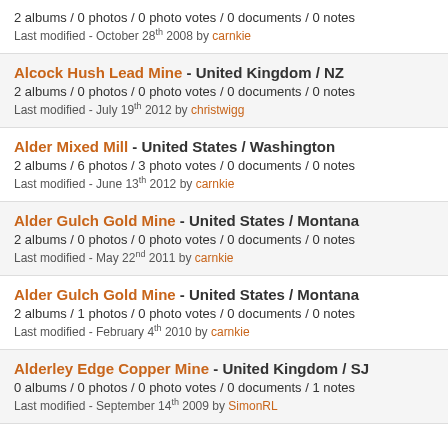2 albums / 0 photos / 0 photo votes / 0 documents / 0 notes
Last modified - October 28th 2008 by carnkie
Alcock Hush Lead Mine - United Kingdom / NZ
2 albums / 0 photos / 0 photo votes / 0 documents / 0 notes
Last modified - July 19th 2012 by christwigg
Alder Mixed Mill - United States / Washington
2 albums / 6 photos / 3 photo votes / 0 documents / 0 notes
Last modified - June 13th 2012 by carnkie
Alder Gulch Gold Mine - United States / Montana
2 albums / 0 photos / 0 photo votes / 0 documents / 0 notes
Last modified - May 22nd 2011 by carnkie
Alder Gulch Gold Mine - United States / Montana
2 albums / 1 photos / 0 photo votes / 0 documents / 0 notes
Last modified - February 4th 2010 by carnkie
Alderley Edge Copper Mine - United Kingdom / SJ
0 albums / 0 photos / 0 photo votes / 0 documents / 1 notes
Last modified - September 14th 2009 by SimonRL